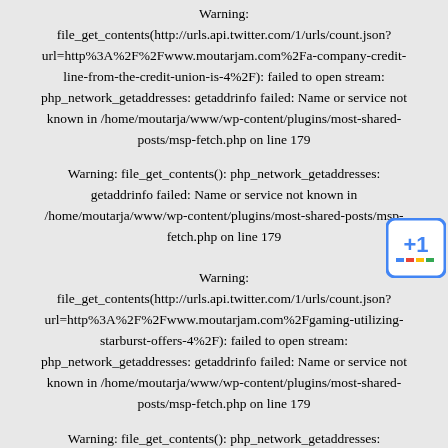Warning: file_get_contents(http://urls.api.twitter.com/1/urls/count.json?url=http%3A%2F%2Fwww.moutarjam.com%2Fa-company-credit-line-from-the-credit-union-is-4%2F): failed to open stream: php_network_getaddresses: getaddrinfo failed: Name or service not known in /home/moutarja/www/wp-content/plugins/most-shared-posts/msp-fetch.php on line 179
Warning: file_get_contents(): php_network_getaddresses: getaddrinfo failed: Name or service not known in /home/moutarja/www/wp-content/plugins/most-shared-posts/msp-fetch.php on line 179
Warning: file_get_contents(http://urls.api.twitter.com/1/urls/count.json?url=http%3A%2F%2Fwww.moutarjam.com%2Fgaming-utilizing-starburst-offers-4%2F): failed to open stream: php_network_getaddresses: getaddrinfo failed: Name or service not known in /home/moutarja/www/wp-content/plugins/most-shared-posts/msp-fetch.php on line 179
Warning: file_get_contents(): php_network_getaddresses: getaddrinfo failed: Name or service not known in /home/moutarja/www/wp-content/plugins/most-shared-posts/msp-